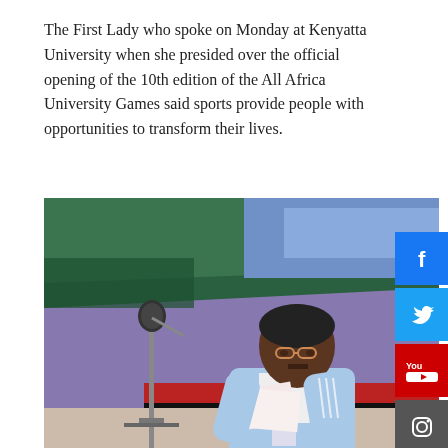The First Lady who spoke on Monday at Kenyatta University when she presided over the official opening of the 10th edition of the All Africa University Games said sports provide people with opportunities to transform their lives.
[Figure (photo): A man in a light blue Adidas jacket wearing glasses and a lanyard, reading from papers at a microphone on a stand. Behind him is a green tent canopy and a Kenyan flag. The event appears to be an outdoor ceremony.]